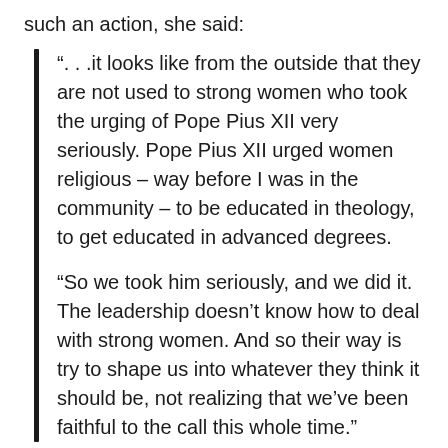such an action, she said:
“. . .it looks like from the outside that they are not used to strong women who took the urging of Pope Pius XII very seriously. Pope Pius XII urged women religious – way before I was in the community – to be educated in theology, to get educated in advanced degrees.
“So we took him seriously, and we did it. The leadership doesn’t know how to deal with strong women. And so their way is try to shape us into whatever they think it should be, not realizing that we’ve been faithful to the call this whole time.”
Responding to a line of questioning as to